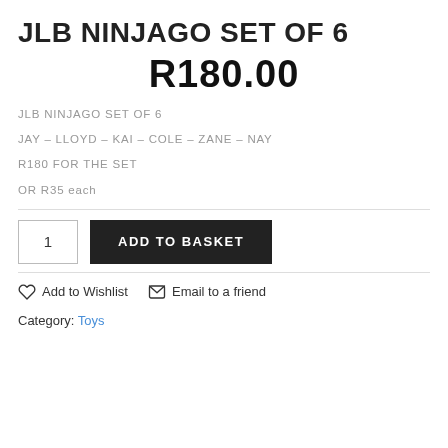JLB NINJAGO SET OF 6
R180.00
JLB NINJAGO SET OF 6
JAY – LLOYD – KAI – COLE – ZANE – NAY
R180 FOR THE SET
OR R35 each
1  ADD TO BASKET
Add to Wishlist   Email to a friend
Category: Toys